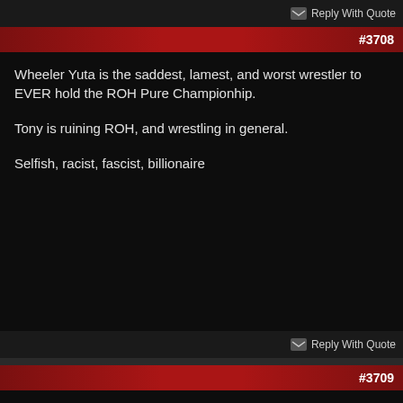Reply With Quote
#3708
Wheeler Yuta is the saddest, lamest, and worst wrestler to EVER hold the ROH Pure Championhip.

Tony is ruining ROH, and wrestling in general.

Selfish, racist, fascist, billionaire
Reply With Quote
#3709
watched the briscoes/FTR rematch. not as good as their first match (which is my clear-cut working match of the decade) but it was definitely great. lots of incredible spots and moments. cash was the star of the match for me. i think the 2/3 falls actually hurt it. if everything they did was condensed to 30 minutes rather than 45